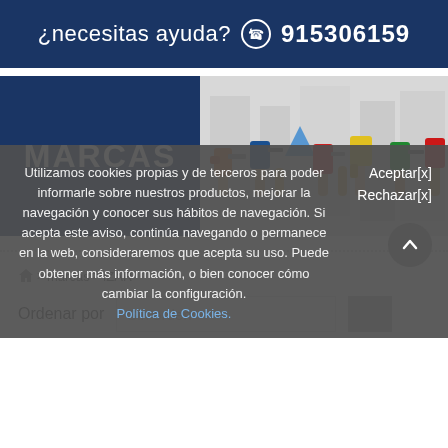¿necesitas ayuda? 915306159
[Figure (illustration): Banner with dark blue left panel showing 'MARCAS' text and right panel showing people holding up various tools (drills, hammers, etc.)]
> marcas > IZAR
Ordenar por   Sin orden
Utilizamos cookies propias y de terceros para poder informarle sobre nuestros productos, mejorar la navegación y conocer sus hábitos de navegación. Si acepta este aviso, continúa navegando o permanece en la web, consideraremos que acepta su uso. Puede obtener más información, o bien conocer cómo cambiar la configuración. Política de Cookies.
Aceptar[x]
Rechazar[x]